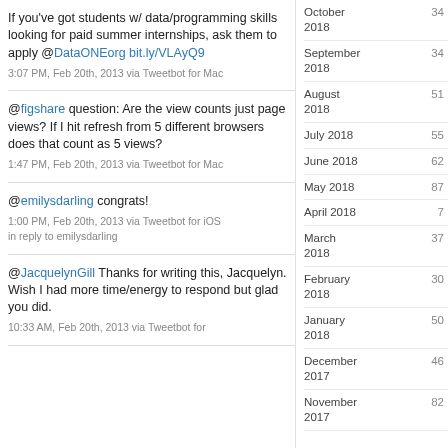If you've got students w/ data/programming skills looking for paid summer internships, ask them to apply @DataONEorg bit.ly/VLAyQ9
3:07 PM, Feb 20th, 2013 via Tweetbot for Mac
@figshare question: Are the view counts just page views? If I hit refresh from 5 different browsers does that count as 5 views?
1:47 PM, Feb 20th, 2013 via Tweetbot for Mac
@emilysdarling congrats!
1:00 PM, Feb 20th, 2013 via Tweetbot for iOS in reply to emilysdarling
@JacquelynGill Thanks for writing this, Jacquelyn. Wish I had more time/energy to respond but glad you did.
10:33 AM, Feb 20th, 2013 via Tweetbot for
October 2018   34
September 2018   34
August 2018   51
July 2018   55
June 2018   62
May 2018   87
April 2018   7
March 2018   37
February 2018   30
January 2018   50
December 2017   46
November 2017   82